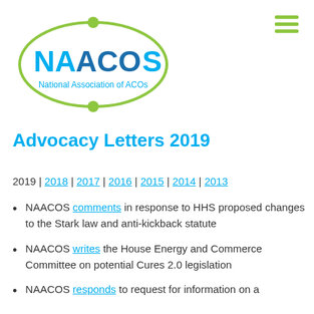[Figure (logo): NAACOS National Association of ACOs logo — green oval outline with two green circular nodes at top and bottom, text 'NAACOS' in cyan/blue and bold blue, subtitle 'National Association of ACOs' in cyan]
Advocacy Letters 2019
2019 | 2018 | 2017 | 2016 | 2015 | 2014 | 2013
NAACOS comments in response to HHS proposed changes to the Stark law and anti-kickback statute
NAACOS writes the House Energy and Commerce Committee on potential Cures 2.0 legislation
NAACOS responds to request for information on a